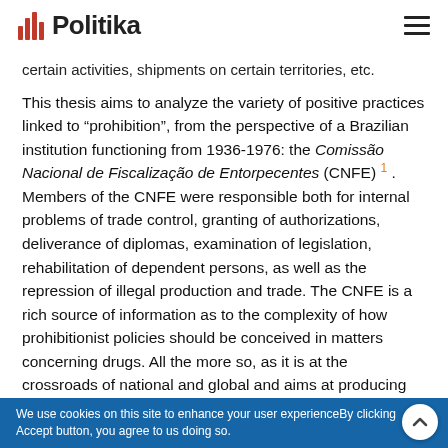Politika
certain activities, shipments on certain territories, etc.
This thesis aims to analyze the variety of positive practices linked to “prohibition”, from the perspective of a Brazilian institution functioning from 1936-1976: the Comissão Nacional de Fiscalização de Entorpecentes (CNFE) 1 . Members of the CNFE were responsible both for internal problems of trade control, granting of authorizations, deliverance of diplomas, examination of legislation, rehabilitation of dependent persons, as well as the repression of illegal production and trade. The CNFE is a rich source of information as to the complexity of how prohibitionist policies should be conceived in matters concerning drugs. All the more so, as it is at the crossroads of national and global and aims at producing Brazilian
We use cookies on this site to enhance your user experienceBy clicking Accept button, you agree to us doing so.